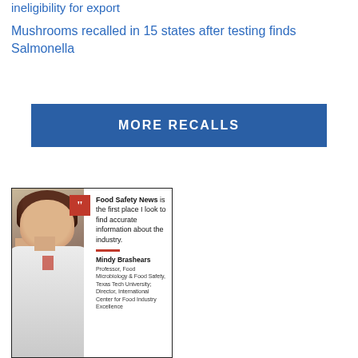ineligibility for export
Mushrooms recalled in 15 states after testing finds Salmonella
MORE RECALLS
[Figure (photo): Advertisement featuring a photo of a woman in a white lab coat beside a quote from Mindy Brashears, Professor of Food Microbiology & Food Safety, Texas Tech University; Director, International Center for Food Industry Excellence. Quote: Food Safety News is the first place I look to find accurate information about the industry.]
Food Safety News is the first place I look to find accurate information about the industry.
Mindy Brashears
Professor, Food Microbiology & Food Safety, Texas Tech University; Director, International Center for Food Industry Excellence